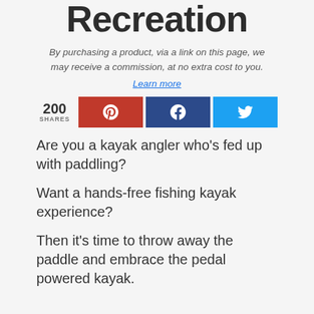Fishing & Recreation
By purchasing a product, via a link on this page, we may receive a commission, at no extra cost to you.
Learn more
200 SHARES
Are you a kayak angler who's fed up with paddling?
Want a hands-free fishing kayak experience?
Then it's time to throw away the paddle and embrace the pedal powered kayak.